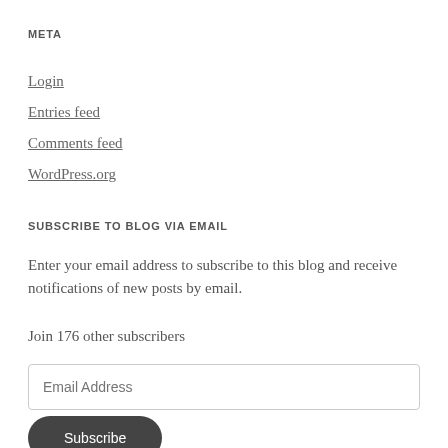META
Login
Entries feed
Comments feed
WordPress.org
SUBSCRIBE TO BLOG VIA EMAIL
Enter your email address to subscribe to this blog and receive notifications of new posts by email.
Join 176 other subscribers
Email Address
Subscribe